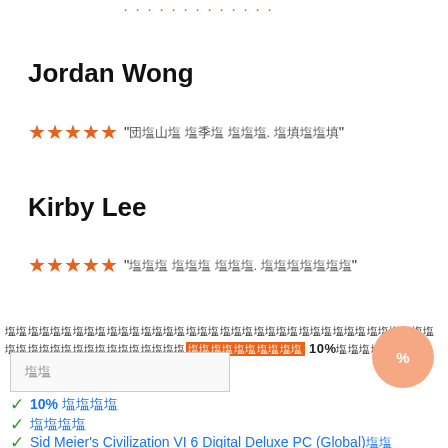Jordan Wong
★★★★★ "[Korean text]. [Korean text]"
Kirby Lee
★★★★★ "[Korean text]. [Korean text]"
[Korean text] 10% [Korean text]
[Korean input box placeholder]
10% [Korean text]
[Korean text]
Sid Meier's Civilization VI 6 Digital Deluxe PC (Global)[Korean text]
[Korean text]